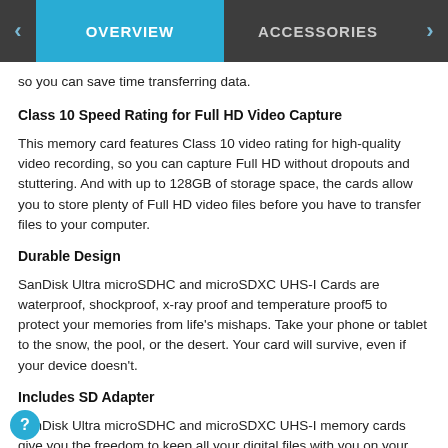OVERVIEW | ACCESSORIES
so you can save time transferring data.
Class 10 Speed Rating for Full HD Video Capture
This memory card features Class 10 video rating for high-quality video recording, so you can capture Full HD without dropouts and stuttering. And with up to 128GB of storage space, the cards allow you to store plenty of Full HD video files before you have to transfer files to your computer.
Durable Design
SanDisk Ultra microSDHC and microSDXC UHS-I Cards are waterproof, shockproof, x-ray proof and temperature proof5 to protect your memories from life's mishaps. Take your phone or tablet to the snow, the pool, or the desert. Your card will survive, even if your device doesn't.
Includes SD Adapter
SanDisk Ultra microSDHC and microSDXC UHS-I memory cards give you the freedom to keep all your digital files with you on your smartphone or tablet. Plus, the included SD adapter lets you move files easily among other SD compatible devices, such as digital cameras and